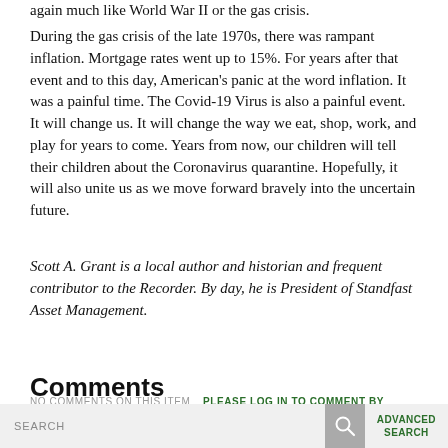again much like World War II or the gas crisis.
During the gas crisis of the late 1970s, there was rampant inflation. Mortgage rates went up to 15%. For years after that event and to this day, American's panic at the word inflation. It was a painful time. The Covid-19 Virus is also a painful event. It will change us. It will change the way we eat, shop, work, and play for years to come. Years from now, our children will tell their children about the Coronavirus quarantine. Hopefully, it will also unite us as we move forward bravely into the uncertain future.
Scott A. Grant is a local author and historian and frequent contributor to the Recorder. By day, he is President of Standfast Asset Management.
Comments
NO COMMENTS ON THIS ITEM   PLEASE LOG IN TO COMMENT BY CLICKING HERE
WELCOME!   Login
SEARCH   ADVANCED SEARCH